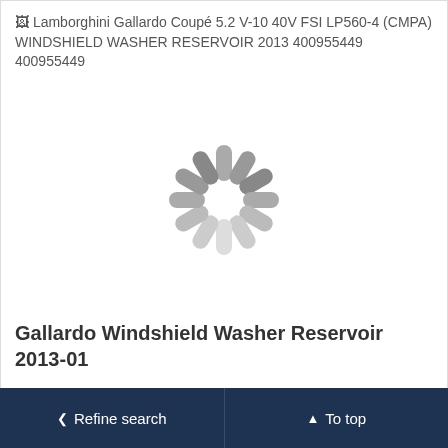Lamborghini Gallardo Coupé 5.2 V-10 40V FSI LP560-4 (CMPA) WINDSHIELD WASHER RESERVOIR 2013 400955449 400955449
[Figure (illustration): Loading spinner graphic (rotating blades in gray) overlaid on product image placeholder area]
Gallardo Windshield Washer Reservoir 2013-01
Make: Lamborghini
Model: Gallardo
Engine: 5.2 V10 40V
OEM: 400955449
€ 50,00
Buy now
❮  Refine search     ▲  To top